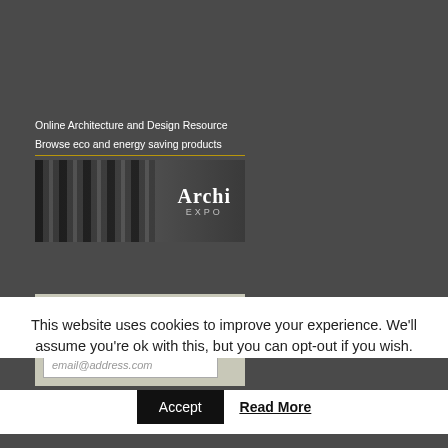[Figure (screenshot): ArchiExpo advertisement banner showing 'Online Architecture and Design Resource - Browse eco and energy saving products' with an architectural image and ArchiExpo logo]
NEWSLETTER
email@address.com
This website uses cookies to improve your experience. We'll assume you're ok with this, but you can opt-out if you wish.
Accept
Read More